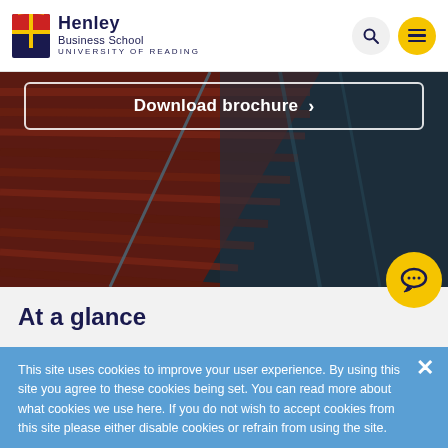Henley Business School — University of Reading
[Figure (screenshot): Hero image showing architectural building with diagonal wooden slats in dark red/brown tones against a dark teal background]
Download brochure >
[Figure (illustration): Yellow circular chat/speech bubble icon on right side]
At a glance
This site uses cookies to improve your user experience. By using this site you agree to these cookies being set. You can read more about what cookies we use here. If you do not wish to accept cookies from this site please either disable cookies or refrain from using the site.